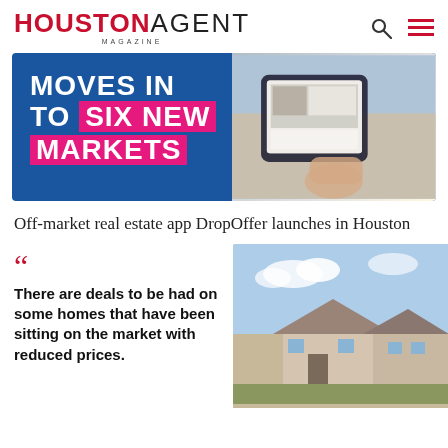HOUSTON AGENT MAGAZINE
[Figure (illustration): Banner advertisement: 'MOVES IN TO SIX NEW MARKETS' on blue background with pink/magenta highlight text, alongside a photo of hands holding a tablet showing real estate listings]
Off-market real estate app DropOffer launches in Houston
There are deals to be had on some homes that have been sitting on the market with reduced prices.
[Figure (photo): Photo of suburban houses with blue sky background]